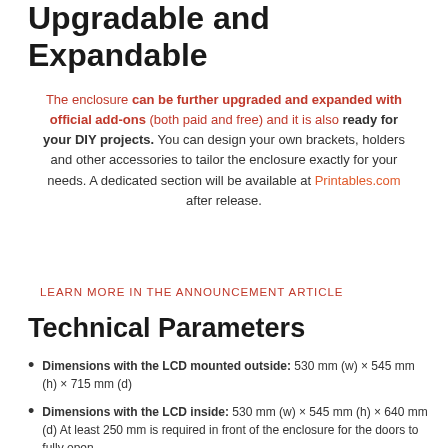Upgradable and Expandable
The enclosure can be further upgraded and expanded with official add-ons (both paid and free) and it is also ready for your DIY projects. You can design your own brackets, holders and other accessories to tailor the enclosure exactly for your needs. A dedicated section will be available at Printables.com after release.
LEARN MORE IN THE ANNOUNCEMENT ARTICLE
Technical Parameters
Dimensions with the LCD mounted outside: 530 mm (w) × 545 mm (h) × 715 mm (d)
Dimensions with the LCD inside: 530 mm (w) × 545 mm (h) × 640 mm (d) At least 250 mm is required in front of the enclosure for the doors to fully open
Enclosure type: Passive, heating provided only by the 3D printer's heatbed